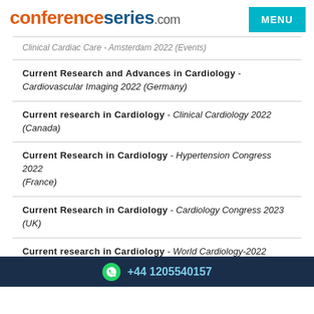conferenceseries.com
Current Research and Advances in Cardiology - Cardiovascular Imaging 2022 (Germany)
Current research in Cardiology - Clinical Cardiology 2022 (Canada)
Current Research in Cardiology - Hypertension Congress 2022 (France)
Current Research in Cardiology - Cardiology Congress 2023 (UK)
Current research in Cardiology - World Cardiology-2022 (Australia)
+44 1205540157